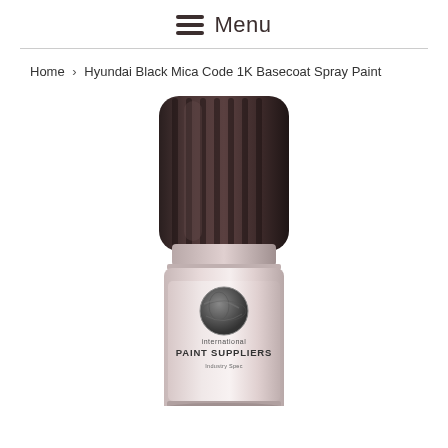Menu
Home > Hyundai Black Mica Code 1K Basecoat Spray Paint
[Figure (photo): Spray paint can with black cap and silver/white body. Label reads 'International Paint Suppliers' with a globe logo. Product is Hyundai Black Mica Code 1K Basecoat Spray Paint.]